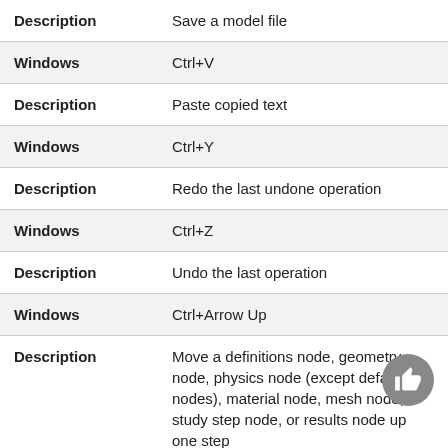| Description | Save a model file |
| Windows | Ctrl+V |
| Description | Paste copied text |
| Windows | Ctrl+Y |
| Description | Redo the last undone operation |
| Windows | Ctrl+Z |
| Description | Undo the last operation |
| Windows | Ctrl+Arrow Up |
| Description | Move a definitions node, geometry node, physics node (except default nodes), material node, mesh node, study step node, or results node up one step |
| Windows | Ctrl+Arrow Down |
| Description | Move a definitions node, geometry node, physics node... |